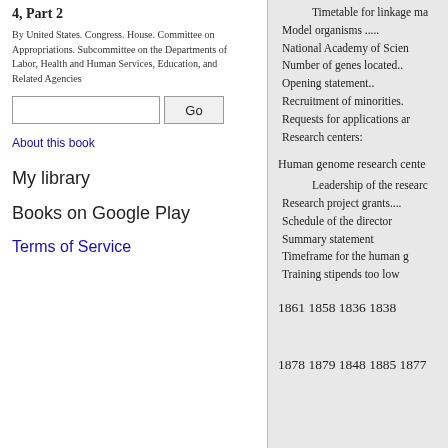4, Part 2
By United States. Congress. House. Committee on Appropriations. Subcommittee on the Departments of Labor, Health and Human Services, Education, and Related Agencies
About this book
My library
Books on Google Play
Terms of Service
Timetable for linkage ma
Model organisms .....
National Academy of Scien
Number of genes located..
Opening statement..
Recruitment of minorities.
Requests for applications ar
Research centers:
Human genome research cente
Leadership of the researc
Research project grants....
Schedule of the director
Summary statement
Timeframe for the human g
Training stipends too low
1861 1858 1836 1838
1878 1879 1848 1885 1877